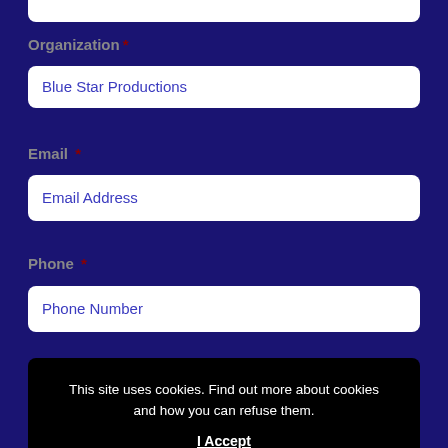Organization *
Blue Star Productions
Email *
Email Address
Phone *
Phone Number
This site uses cookies. Find out more about cookies and how you can refuse them. I Accept